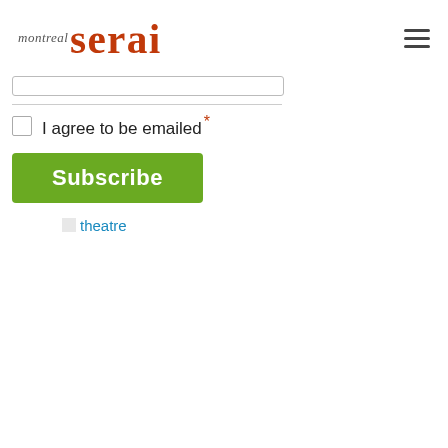montreal serai
[Figure (screenshot): A partially visible input field (form element) at the top of the content area]
I agree to be emailed *
Subscribe
theatre (link/image)